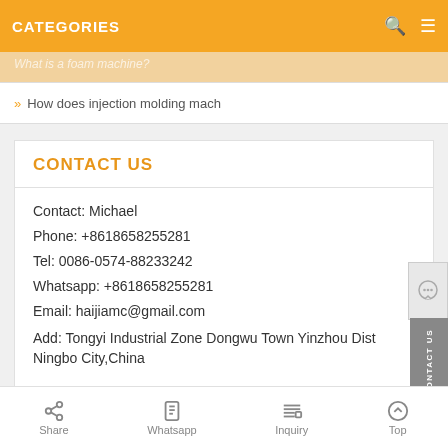CATEGORIES
How does injection molding mach
CONTACT US
Contact: Michael
Phone: +8618658255281
Tel: 0086-0574-88233242
Whatsapp: +8618658255281
Email: haijiamc@gmail.com
Add: Tongyi Industrial Zone Dongwu Town Yinzhou District Ningbo City,China
Share  Whatsapp  Inquiry  Top